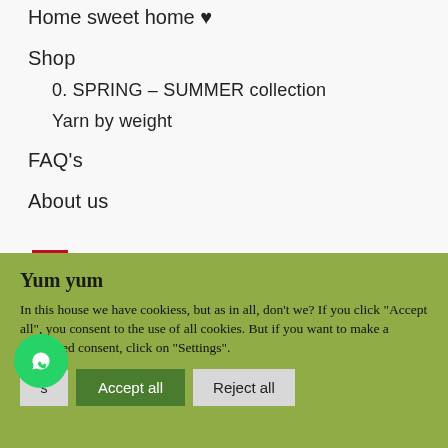Home sweet home ♥
Shop
0. SPRING – SUMMER collection
Yarn by weight
FAQ's
About us
[Figure (illustration): Spanish flag emoji]
[Figure (illustration): Partial dotted circle decoration]
Yum yum
In this house we have cookiess, but as in all, don't we? If you click "Accept all", you consent to the use of all cookies. But if you want to make a controlled consent, click on "Settings".
Settings | Accept all | Reject all
[Figure (logo): WhatsApp green circle button with phone icon]